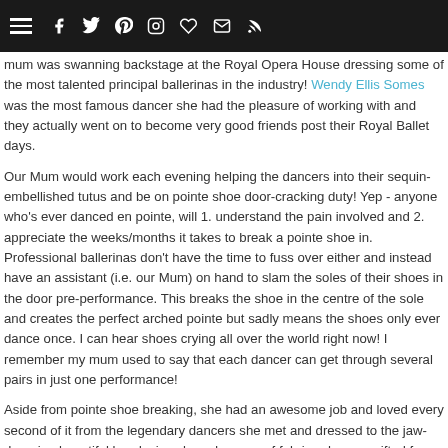[Navigation bar with hamburger menu and social icons: Facebook, Twitter, Pinterest, Instagram, Heart/Like, Email, RSS]
mum was swanning backstage at the Royal Opera House dressing some of the most talented principal ballerinas in the industry! Wendy Ellis Somes was the most famous dancer she had the pleasure of working with and they actually went on to become very good friends post their Royal Ballet days.

Our Mum would work each evening helping the dancers into their sequin-embellished tutus and be on pointe shoe door-cracking duty! Yep - anyone who's ever danced en pointe, will 1. understand the pain involved and 2. appreciate the weeks/months it takes to break a pointe shoe in. Professional ballerinas don't have the time to fuss over either and instead have an assistant (i.e. our Mum) on hand to slam the soles of their shoes in the door pre-performance. This breaks the shoe in the centre of the sole and creates the perfect arched pointe but sadly means the shoes only ever dance once. I can hear shoes crying all over the world right now! I remember my mum used to say that each dancer can get through several pairs in just one performance!

Aside from pointe shoe breaking, she had an awesome job and loved every second of it from the legendary dancers she met and dressed to the jaw-dropping beautiful beads, jewels and scraps of fabrics she was gifted from the steamstresses over the years. But the icing on the cake was having the pleasure of watching the performances from the wings when her work was done. I mentioned in my previous post that she was a keen artist, which sadly took a back seat later in life when she took up teaching and had us Mice. During her Royal Opera House days though, she took full advantage of the beauty, elegance and colour that made the stage spectacular day in day out - taking pen to paper and sketching and painting those moments. She went on to very successfully selling her pieces to Liberty